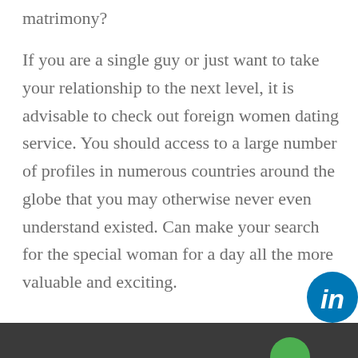matrimony?
If you are a single guy or just want to take your relationship to the next level, it is advisable to check out foreign women dating service. You should access to a large number of profiles in numerous countries around the globe that you may otherwise never even understand existed. Can make your search for the special woman for a day all the more valuable and exciting.
[Figure (logo): LinkedIn logo icon — blue circle with white 'in' text]